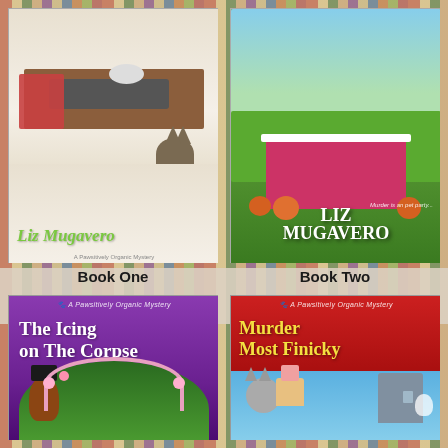[Figure (illustration): Book cover collage: four book covers by Liz Mugavero from the Pawsitively Organic Mystery series, arranged in a 2x2 grid against a bookshelf background. Top-left: Book One showing a kitchen scene with a cat and baking supplies. Top-right: Book Two showing cartoon animals in Halloween costumes at a party table. Bottom-left: The Icing on the Corpse (purple cover). Bottom-right: Murder Most Finicky (red cover with yellow title text).]
Book One
Book Two